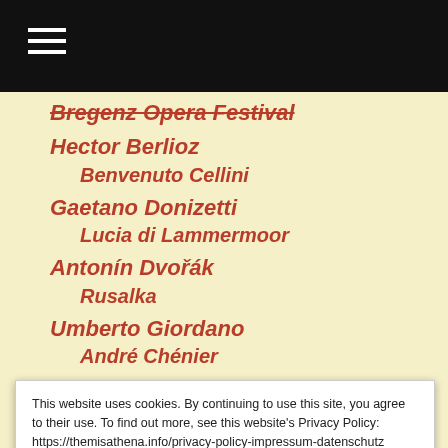Bregenz Opera Festival
Hector Berlioz
Benvenuto Cellini
Gaetano Donizetti
Lucia di Lammermoor
Antonín Dvořák
Rusalka
Umberto Giordano
André Chénier
This website uses cookies. By continuing to use this site, you agree to their use. To find out more, see this website's Privacy Policy: https://themisathena.info/privacy-policy-impressum-datenschutz

Diese Website verwendet Cookies. Durch die Fortsetzung Ihres Besuchs stimmen Sie der Verwendung zu. Weitere Informationen finden Sie auf der Seite Impressum und Datenschutz: https://themisathena.info/privacy-policy-impressum-datenschutz Privacy & Cookie Policy
Close and accept